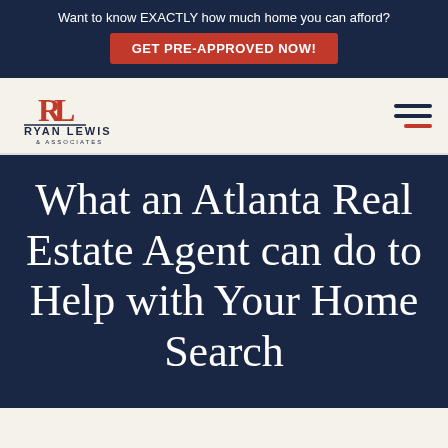Want to know EXACTLY how much home you can afford?
GET PRE-APPROVED NOW!
[Figure (logo): Ryan Lewis & Associates logo with stylized RL monogram in red]
What an Atlanta Real Estate Agent can do to Help with Your Home Search